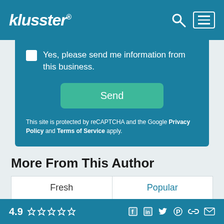klusster®
Yes, please send me information from this business.
Send
This site is protected by reCAPTCHA and the Google Privacy Policy and Terms of Service apply.
More From This Author
Fresh
Popular
4.9 ☆☆☆☆☆